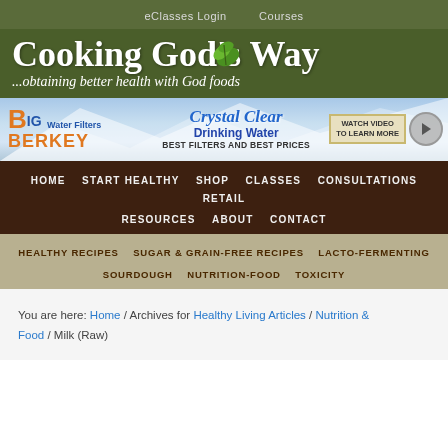eClasses Login   Courses
[Figure (logo): Cooking God's Way logo with green leaf icon and tagline '...obtaining better health with God foods' on dark green background]
[Figure (infographic): Big Berkey Water Filters banner ad — Crystal Clear Drinking Water, Best Filters and Best Prices, Watch Video to Learn More]
HOME   START HEALTHY   SHOP   CLASSES   CONSULTATIONS   RETAIL   RESOURCES   ABOUT   CONTACT
HEALTHY RECIPES   SUGAR & GRAIN-FREE RECIPES   LACTO-FERMENTING   SOURDOUGH   NUTRITION-FOOD   TOXICITY
You are here: Home / Archives for Healthy Living Articles / Nutrition & Food / Milk (Raw)